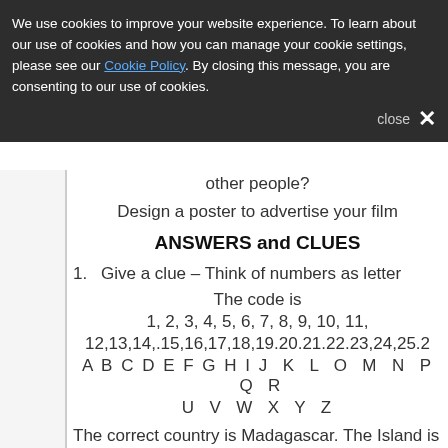We use cookies to improve your website experience. To learn about our use of cookies and how you can manage your cookie settings, please see our Cookie Policy. By closing this message, you are consenting to our use of cookies.
close ✕
other people?
Design a poster to advertise your film
ANSWERS and CLUES
1.   Give a clue – Think of numbers as letter
The code is
1, 2, 3, 4, 5, 6, 7, 8, 9, 10, 11,
12,13,14,.15,16,17,18,19.20.21.22.23,24,25.2
A B C D E F G H I J  K  L  O  M  N  P  Q  R
U  V  W  X  Y  Z
The correct country is Madagascar. The Island is si